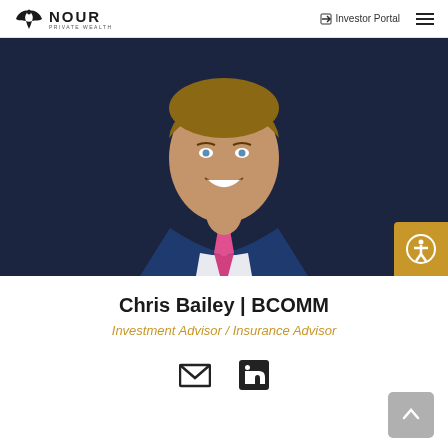NOUR PRIVATE WEALTH | Investor Portal
[Figure (photo): Professional headshot of Chris Bailey, a man in a dark navy blue suit with a pink/magenta patterned tie and white dress shirt, smiling, against a dark background.]
Chris Bailey | BCOMM
Investment Advisor / Insurance Advisor